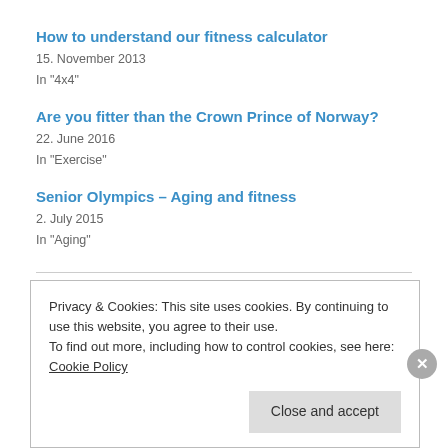How to understand our fitness calculator
15. November 2013
In "4x4"
Are you fitter than the Crown Prince of Norway?
22. June 2016
In "Exercise"
Senior Olympics – Aging and fitness
2. July 2015
In "Aging"
17. October 2014
Leave a Reply
Privacy & Cookies: This site uses cookies. By continuing to use this website, you agree to their use.
To find out more, including how to control cookies, see here: Cookie Policy
Close and accept